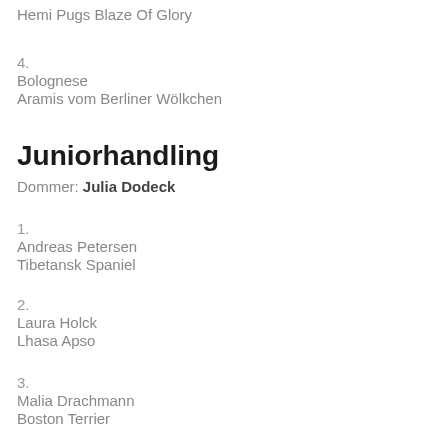Hemi Pugs Blaze Of Glory
4.
Bolognese
Aramis vom Berliner Wölkchen
Juniorhandling
Dommer: Julia Dodeck
1.
Andreas Petersen
Tibetansk Spaniel
2.
Laura Holck
Lhasa Apso
3.
Malia Drachmann
Boston Terrier